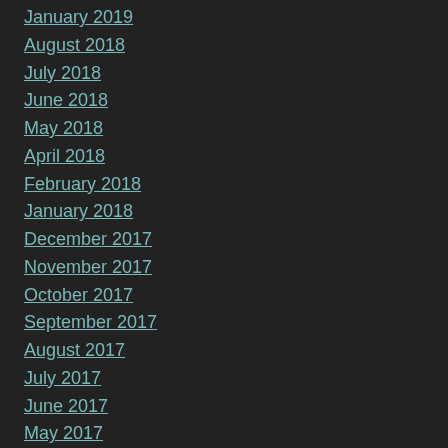January 2019
August 2018
July 2018
June 2018
May 2018
April 2018
February 2018
January 2018
December 2017
November 2017
October 2017
September 2017
August 2017
July 2017
June 2017
May 2017
April 2017
March 2017
January 2017